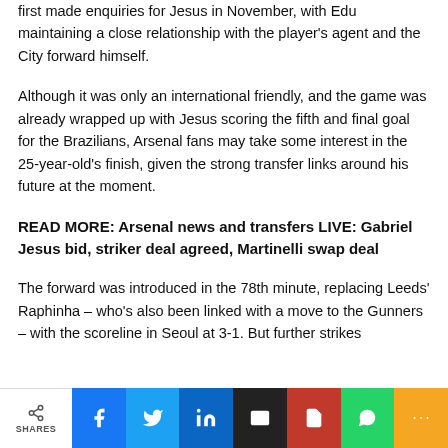first made enquiries for Jesus in November, with Edu maintaining a close relationship with the player's agent and the City forward himself.
Although it was only an international friendly, and the game was already wrapped up with Jesus scoring the fifth and final goal for the Brazilians, Arsenal fans may take some interest in the 25-year-old's finish, given the strong transfer links around his future at the moment.
READ MORE: Arsenal news and transfers LIVE: Gabriel Jesus bid, striker deal agreed, Martinelli swap deal
The forward was introduced in the 78th minute, replacing Leeds' Raphinha – who's also been linked with a move to the Gunners – with the scoreline in Seoul at 3-1. But further strikes